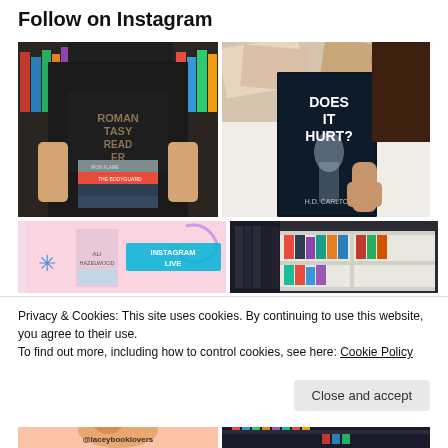Follow on Instagram
[Figure (photo): Person wearing a 'Romantasy Reader' t-shirt holding a stack of fantasy books in front of a bookshelf]
[Figure (photo): Hand holding a book titled 'Does It Hurt?' by H.D. Carlton, with colorful books spread in background]
[Figure (photo): Pink Instagram Live thumbnail with Ali Hazelwood book cover and 'INSTAGRAM LIVE' text]
[Figure (photo): Bookshelf with dark-spined books and white shelving unit]
Privacy & Cookies: This site uses cookies. By continuing to use this website, you agree to their use.
To find out more, including how to control cookies, see here: Cookie Policy
[Figure (photo): Pink background with a dog visible, @laceybooklovers handle at bottom]
[Figure (photo): Dark bookshelf photo]